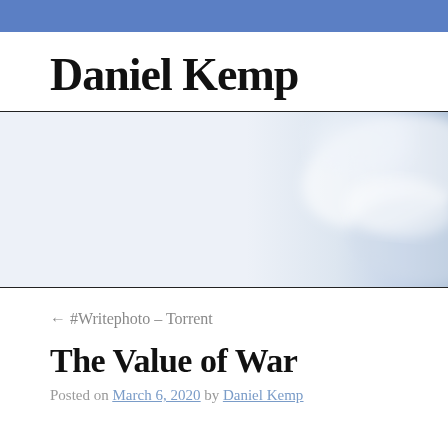Daniel Kemp
[Figure (photo): A blurred header image showing what appears to be a white glove or hand against a light background, used as a decorative website banner.]
← #Writephoto – Torrent
The Value of War
Posted on March 6, 2020 by Daniel Kemp